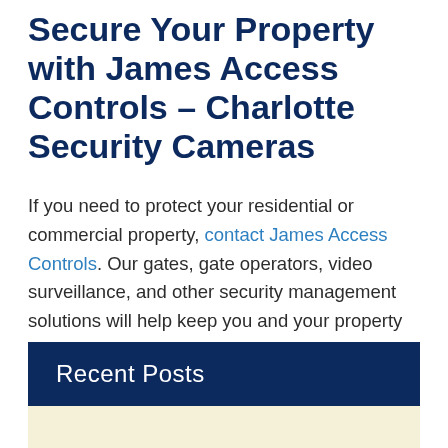Secure Your Property with James Access Controls – Charlotte Security Cameras
If you need to protect your residential or commercial property, contact James Access Controls. Our gates, gate operators, video surveillance, and other security management solutions will help keep you and your property as safe as possible. To view our range of Charlotte security cameras, click here.
[Figure (illustration): Decorative horizontal divider with two double lines (dark navy and gold) flanking a circular arrow logo icon in the center]
Recent Posts